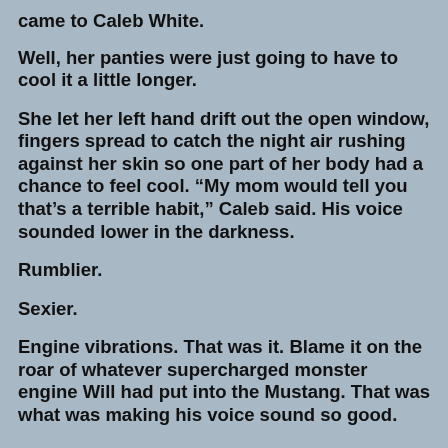came to Caleb White.
Well, her panties were just going to have to cool it a little longer.
She let her left hand drift out the open window, fingers spread to catch the night air rushing against her skin so one part of her body had a chance to feel cool. “My mom would tell you that’s a terrible habit,” Caleb said. His voice sounded lower in the darkness.
Rumblier.
Sexier.
Engine vibrations. That was it. Blame it on the roar of whatever supercharged monster engine Will had put into the Mustang. That was what was making his voice sound so good.